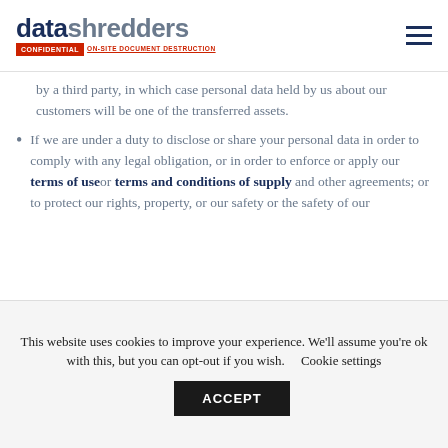[Figure (logo): Data Shredders Confidential On-Site Document Destruction logo with hamburger menu icon]
by a third party, in which case personal data held by us about our customers will be one of the transferred assets.
If we are under a duty to disclose or share your personal data in order to comply with any legal obligation, or in order to enforce or apply our terms of use or terms and conditions of supply and other agreements; or to protect our rights, property, or our safety or the safety of our
This website uses cookies to improve your experience. We'll assume you're ok with this, but you can opt-out if you wish. Cookie settings ACCEPT